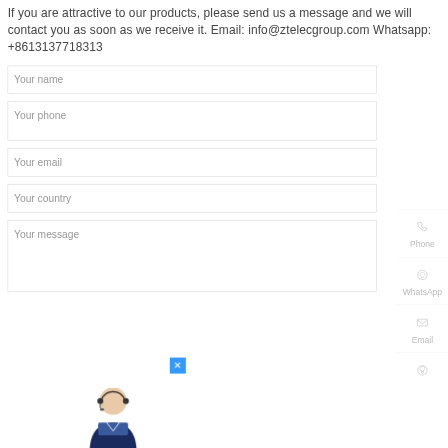If you are attractive to our products, please send us a message and we will contact you as soon as we receive it. Email: info@ztelecgroup.com Whatsapp: +8613137718313
Your name
Your phone
Your email
Your country
Your message
[Figure (photo): Customer service representative — young woman wearing headset and business attire]
Phone
WhatsApp
Email